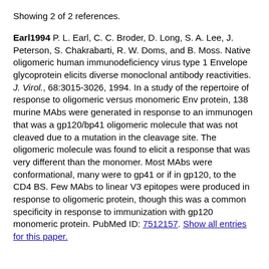Showing 2 of 2 references.
Earl1994 P. L. Earl, C. C. Broder, D. Long, S. A. Lee, J. Peterson, S. Chakrabarti, R. W. Doms, and B. Moss. Native oligomeric human immunodeficiency virus type 1 Envelope glycoprotein elicits diverse monoclonal antibody reactivities. J. Virol., 68:3015-3026, 1994. In a study of the repertoire of response to oligomeric versus monomeric Env protein, 138 murine MAbs were generated in response to an immunogen that was a gp120/bp41 oligomeric molecule that was not cleaved due to a mutation in the cleavage site. The oligomeric molecule was found to elicit a response that was very different than the monomer. Most MAbs were conformational, many were to gp41 or if in gp120, to the CD4 BS. Few MAbs to linear V3 epitopes were produced in response to oligomeric protein, though this was a common specificity in response to immunization with gp120 monomeric protein. PubMed ID: 7512157. Show all entries for this paper.